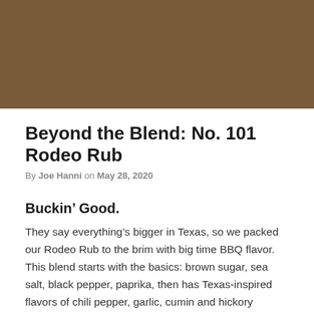[Figure (photo): Hero image placeholder with brownish-tan color background representing a barbeque rub product photo]
Beyond the Blend: No. 101 Rodeo Rub
By Joe Hanni on May 28, 2020
Buckin’ Good.
They say everything’s bigger in Texas, so we packed our Rodeo Rub to the brim with big time BBQ flavor. This blend starts with the basics: brown sugar, sea salt, black pepper, paprika, then has Texas-inspired flavors of chili pepper, garlic, cumin and hickory smoke.
You’ve heard it before: all you need on a good brisket is a 50/50